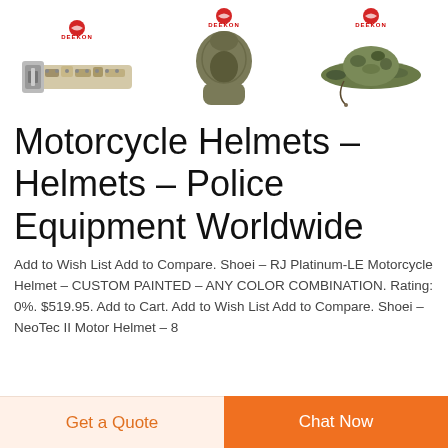[Figure (photo): Three product images from DEEKON brand: a military-style belt with camo pattern and metal buckle, an olive/khaki balaclava face mask, and a camouflage boonie hat with chin cord. Each has the DEEKON logo above it.]
Motorcycle Helmets – Helmets – Police Equipment Worldwide
Add to Wish List Add to Compare. Shoei – RJ Platinum-LE Motorcycle Helmet – CUSTOM PAINTED – ANY COLOR COMBINATION. Rating: 0%. $519.95. Add to Cart. Add to Wish List Add to Compare. Shoei – NeoTec II Motor Helmet – 8
Get a Quote
Chat Now